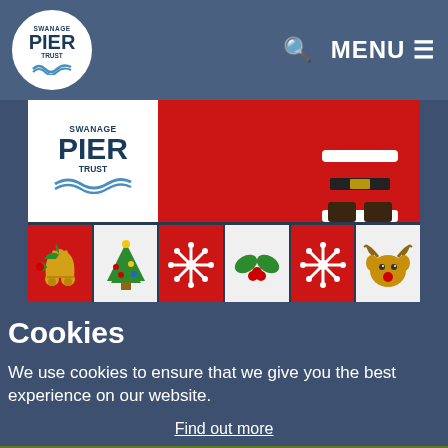Swanage Pier Trust — MENU navigation bar
[Figure (illustration): Christmas promotional banner for Swanage Pier Trust showing the logo on white background, red panel with Santa Claus figure, and a row of six Christmas icon tiles: golden bells with holly, Christmas tree, snowflake on red, holly with berries, snowflake on red, reindeer face]
Cookies
We use cookies to ensure that we give you the best experience on our website.
Find out more
Accept cookies